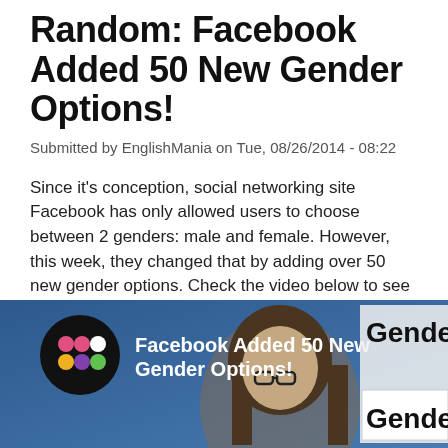Random: Facebook Added 50 New Gender Options!
Submitted by EnglishMania on Tue, 08/26/2014 - 08:22
Since it's conception, social networking site Facebook has only allowed users to choose between 2 genders: male and female. However, this week, they changed that by adding over 50 new gender options. Check the video below to see the difference between sex and gender.
What do you think about this Facebook update? :)
[Figure (screenshot): Video thumbnail showing Facebook Added 50 New Gender Options with a person wearing glasses and text 'Gender' visible on right side, on a blue background with colorful logo icon]